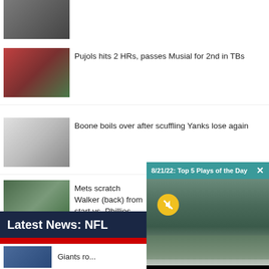[Figure (photo): Baseball players legs/feet on a field, partial crop at top]
[Figure (photo): Baseball player (Pujols) in red Cardinals uniform running bases]
Pujols hits 2 HRs, passes Musial for 2nd in TBs
[Figure (photo): New York Yankees pitcher in pinstripes winding up]
Boone boils over after scuffling Yanks lose again
[Figure (photo): Mets pitcher on mound versus Phillies]
Mets scratch Walker (back) from start vs. Phillies
[Figure (screenshot): Video popup overlay: 8/21/22 Top 5 Plays of the Day — baseball players at second base, Yankees]
Latest News: NFL
[Figure (photo): Giants football players thumbnail]
Giants ro...